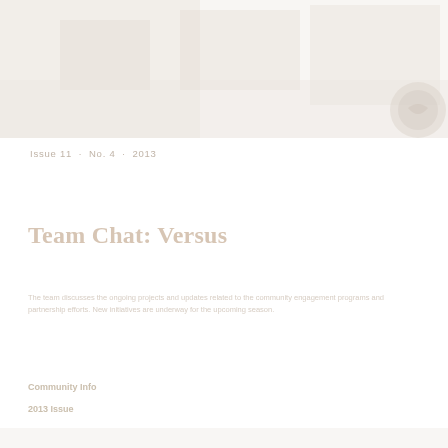[Figure (photo): Faded/washed out header image spanning the top of the page, appearing to show a landscape or publication banner with a circular logo/emblem in the top right corner]
Issue 11 · No. 4 · 2013
Team Chat: Versus
Faded body text describing content related to the Team Chat Versus section. Text is largely illegible due to very light/faded appearance of the document scan.
Community Info
2013 Issue
[Figure (photo): Large faded photographic image in the lower portion of the page, appearing to show multiple photographs or collage elements arranged in a grid, very washed out and light]